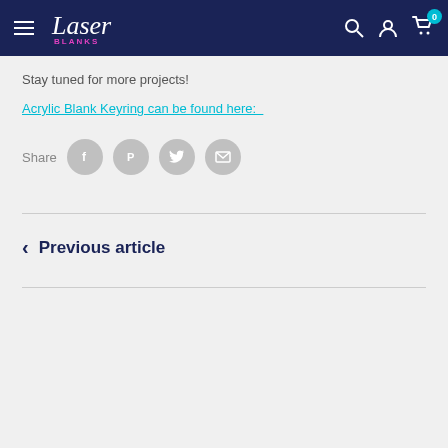Laser Blanks - Navigation bar with hamburger menu, logo, search, account, and cart (0 items)
Stay tuned for more projects!
Acrylic Blank Keyring can be found here:
Share  [Facebook] [Pinterest] [Twitter] [Email]
< Previous article